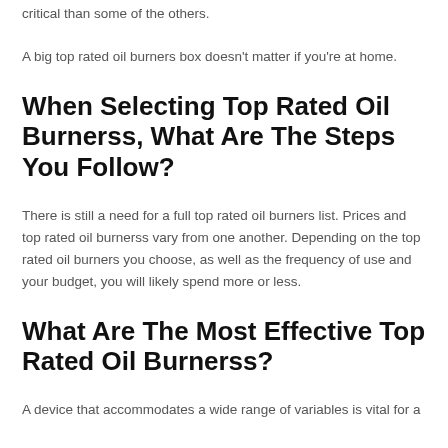critical than some of the others.
A big top rated oil burners box doesn't matter if you're at home.
When Selecting Top Rated Oil Burnerss, What Are The Steps You Follow?
There is still a need for a full top rated oil burners list. Prices and top rated oil burnerss vary from one another. Depending on the top rated oil burners you choose, as well as the frequency of use and your budget, you will likely spend more or less.
What Are The Most Effective Top Rated Oil Burnerss?
A device that accommodates a wide range of variables is vital for a